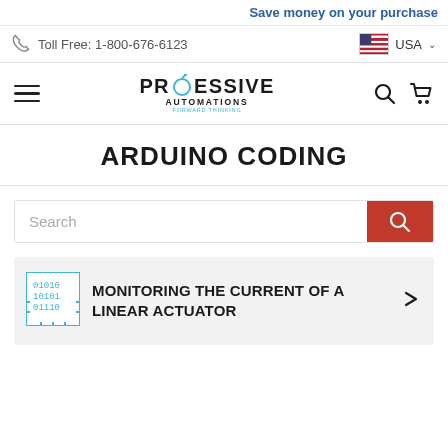Save money on your purchase
Toll Free: 1-800-676-6123
[Figure (logo): Progressive Automations logo with stylized O and tagline FORWARD THINKING]
ARDUINO CODING
Search
MONITORING THE CURRENT OF A LINEAR ACTUATOR